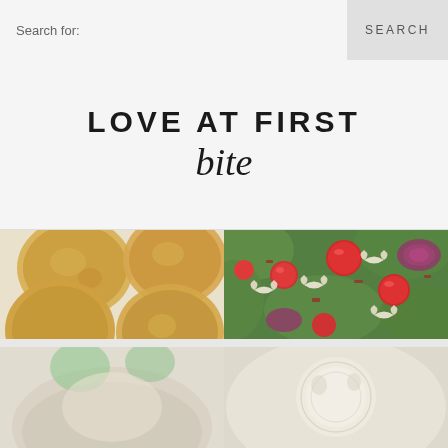Search for:   SEARCH
LOVE AT FIRST bite
[Figure (photo): Top-down view of several round flat golden-brown corn tortillas on a white surface]
[Figure (photo): Close-up of a pasta salad with bowtie pasta, cherry tomatoes, red onion slices, bacon bits, and green lettuce]
[Figure (photo): Partially visible food image at bottom left, appears to be a light colored dish]
[Figure (photo): Partially visible food image at bottom right, appears to be a white/cream colored dish]